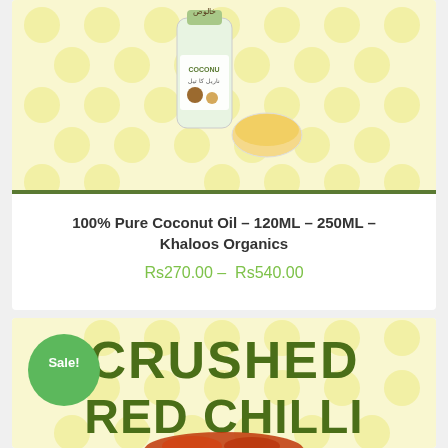[Figure (photo): Product image of coconut oil bottle with bowl on polka dot yellow-cream background]
100% Pure Coconut Oil – 120ML – 250ML – Khaloos Organics
Rs270.00 – Rs540.00
[Figure (photo): Product image showing CRUSHED RED CHILLI text in dark olive green on polka dot background with crushed red chilli heap visible at bottom, Sale! badge in green circle]